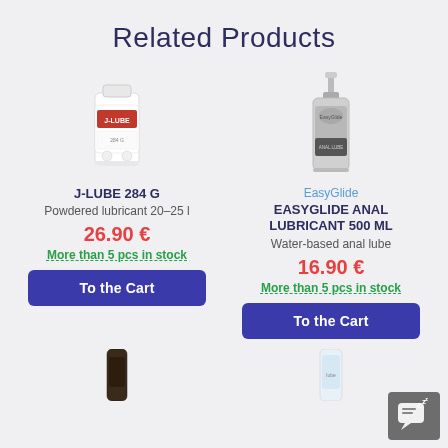Related Products
[Figure (photo): J-Lube 284g product bottle with red and white label]
J-LUBE 284 G
Powdered lubricant 20–25 l
26.90 €
More than 5 pcs in stock
To the Cart
[Figure (photo): EasyGlide anal lubricant 500ml grey bottle with pump dispenser]
EasyGlide
EASYGLIDE ANAL LUBRICANT 500 ML
Water-based anal lube
16.90 €
More than 5 pcs in stock
To the Cart
[Figure (photo): Dark bottle product partially visible at bottom left]
[Figure (photo): Clear bottle product partially visible at bottom right]